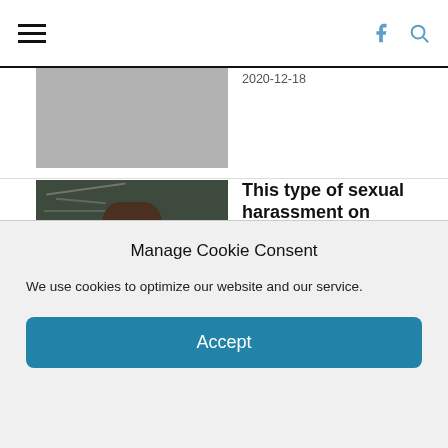Navigation bar with hamburger menu and icons
[Figure (photo): Partially visible article with gray placeholder thumbnail image and partial date 2020-12-18]
2020-12-18
[Figure (photo): Photo of a woman with long brown hair, arms crossed, standing in front of a blackboard in a classroom]
This type of sexual harassment on campus often goes overlooked
2020-11-26
Has Donald Trump had his...
Manage Cookie Consent
We use cookies to optimize our website and our service.
Accept